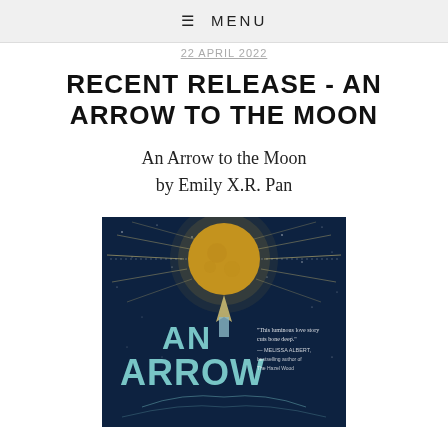≡ MENU
22 APRIL 2022
RECENT RELEASE - AN ARROW TO THE MOON
An Arrow to the Moon
by Emily X.R. Pan
[Figure (illustration): Book cover of 'An Arrow to the Moon' by Emily X.R. Pan. Dark navy blue background with a large golden moon at the top, radiating light rays. Large teal letters spell 'AN ARROW' with an arrow/rocket shape. A quote reads 'This luminous love story cuts bone deep.' — MELISSA ALBERT, bestselling author of The Hazel Wood.]